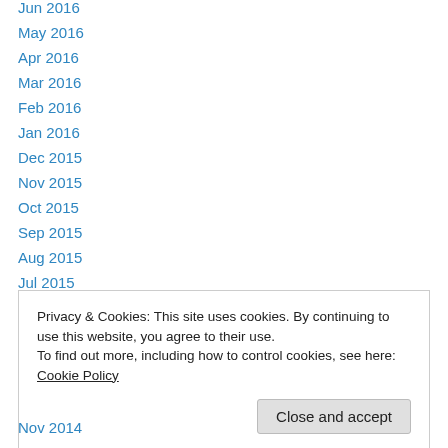Jun 2016
May 2016
Apr 2016
Mar 2016
Feb 2016
Jan 2016
Dec 2015
Nov 2015
Oct 2015
Sep 2015
Aug 2015
Jul 2015
Jun 2015
Privacy & Cookies: This site uses cookies. By continuing to use this website, you agree to their use.
To find out more, including how to control cookies, see here: Cookie Policy
Nov 2014